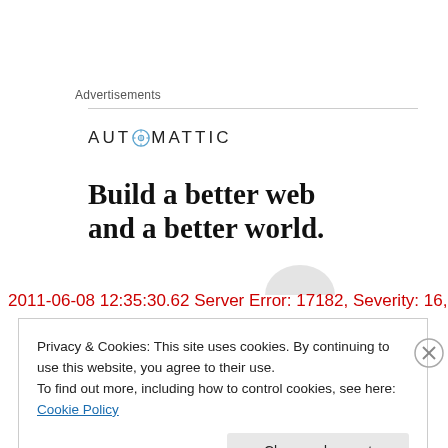Advertisements
[Figure (logo): Automattic logo with compass icon and uppercase text]
Build a better web and a better world.
2011-06-08 12:35:30.62 Server Error: 17182, Severity: 16,
Privacy & Cookies: This site uses cookies. By continuing to use this website, you agree to their use.
To find out more, including how to control cookies, see here: Cookie Policy